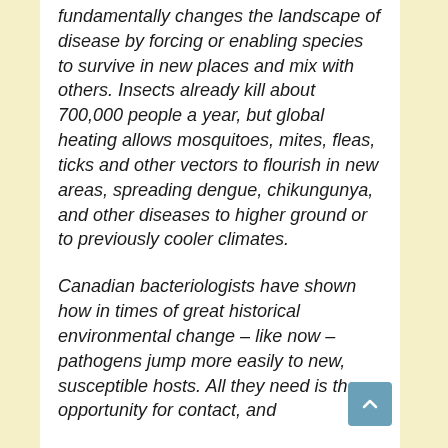fundamentally changes the landscape of disease by forcing or enabling species to survive in new places and mix with others. Insects already kill about 700,000 people a year, but global heating allows mosquitoes, mites, fleas, ticks and other vectors to flourish in new areas, spreading dengue, chikungunya, and other diseases to higher ground or to previously cooler climates.
Canadian bacteriologists have shown how in times of great historical environmental change – like now – pathogens jump more easily to new, susceptible hosts. All they need is the opportunity for contact, and